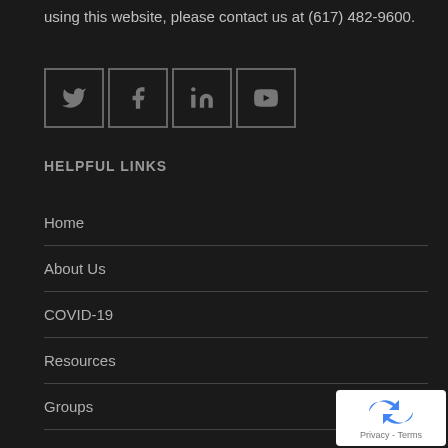using this website, please contact us at (617) 482-9600.
[Figure (other): Social media icons: Twitter, Facebook, LinkedIn, YouTube — each in a square border]
HELPFUL LINKS
Home
About Us
COVID-19
Resources
Groups
Events
Blog
[Figure (other): reCAPTCHA badge with arrow logo and Privacy - Terms text]